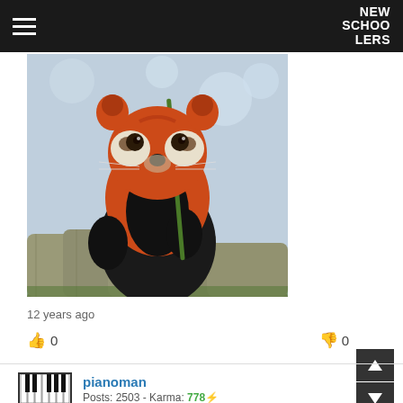NEW SCHOOLERS
[Figure (photo): A red panda sitting on bamboo logs, holding bamboo leaves, with a snowy blurred background]
12 years ago
👍 0
👎 0
[Figure (logo): Piano keys avatar icon for user pianoman]
pianoman
Posts: 2503 - Karma: 778 ⚡